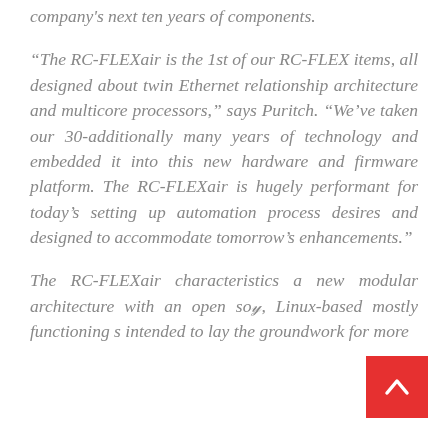company's next ten years of components.
“The RC-FLEXair is the 1st of our RC-FLEX items, all designed about twin Ethernet relationship architecture and multicore processors,” says Puritch. “We’ve taken our 30-additionally many years of technology and embedded it into this new hardware and firmware platform. The RC-FLEXair is hugely performant for today’s setting up automation process desires and designed to accommodate tomorrow’s enhancements.”
The RC-FLEXair characteristics a new modular architecture with an open so... Linux-based mostly functioning s... intended to lay the groundwork for more